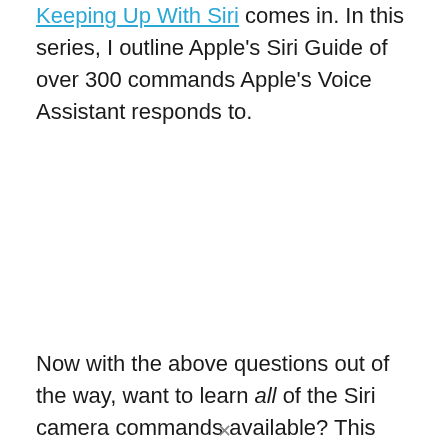Keeping Up With Siri comes in. In this series, I outline Apple's Siri Guide of over 300 commands Apple's Voice Assistant responds to.
Now with the above questions out of the way, want to learn all of the Siri camera commands available? This post